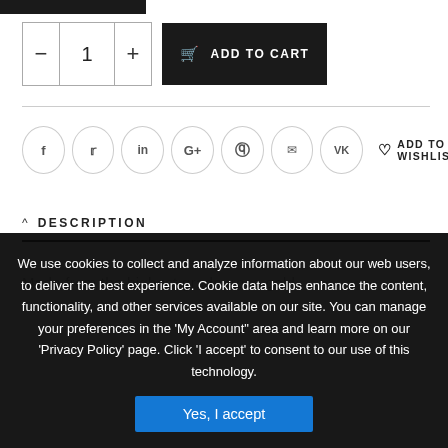[Figure (screenshot): E-commerce product page showing quantity selector, Add to Cart button, social share icons, Add to Wishlist link, and a Description section header with partial product description text. A cookie consent overlay appears at the bottom.]
1
ADD TO CART
f  in  G+  P  ✉  VK  ♡ ADD TO WISHLIST
DESCRIPTION
Made from the highest grade, rose gold-
We use cookies to collect and analyze information about our web users, to deliver the best experience. Cookie data helps enhance the content, functionality, and other services available on our site. You can manage your preferences in the 'My Account" area and learn more on our 'Privacy Policy' page. Click 'I accept' to consent to our use of this technology.
Yes, I accept